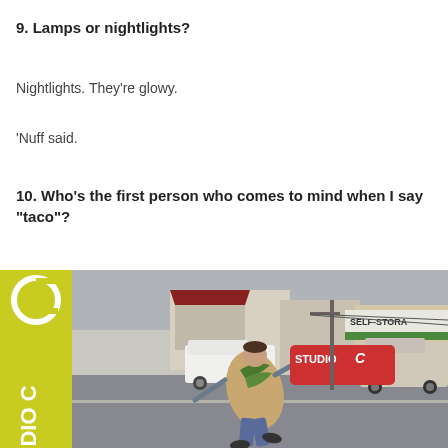9. Lamps or nightlights?
Nightlights. They’re glowy.
‘Nuff said.
10. Who’s the first person who comes to mind when I say “taco”?
[Figure (photo): A person dressed in a taco costume holding a red Studio C sign while running across a street. There is a yellow Studio C branded banner on the left side. Buildings visible in background including Self-Storage facility.]